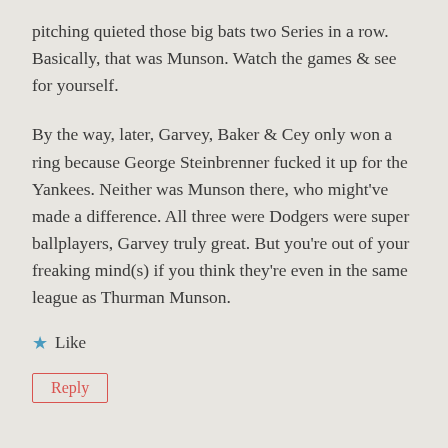pitching quieted those big bats two Series in a row. Basically, that was Munson. Watch the games & see for yourself.
By the way, later, Garvey, Baker & Cey only won a ring because George Steinbrenner fucked it up for the Yankees. Neither was Munson there, who might've made a difference. All three were Dodgers were super ballplayers, Garvey truly great. But you're out of your freaking mind(s) if you think they're even in the same league as Thurman Munson.
Like
Reply